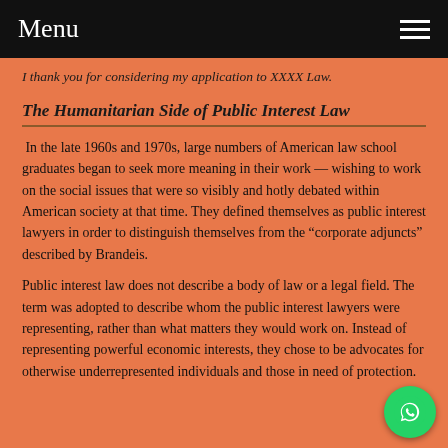Menu
I thank you for considering my application to XXXX Law.
The Humanitarian Side of Public Interest Law
In the late 1960s and 1970s, large numbers of American law school graduates began to seek more meaning in their work — wishing to work on the social issues that were so visibly and hotly debated within American society at that time. They defined themselves as public interest lawyers in order to distinguish themselves from the “corporate adjuncts” described by Brandeis.
Public interest law does not describe a body of law or a legal field. The term was adopted to describe whom the public interest lawyers were representing, rather than what matters they would work on. Instead of representing powerful economic interests, they chose to be advocates for otherwise underrepresented individuals and those in need of protection.